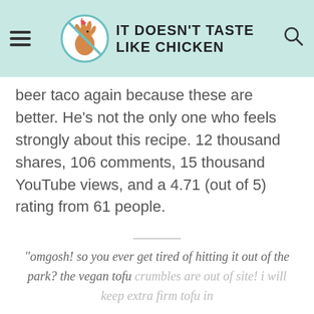IT DOESN'T TASTE LIKE CHICKEN
beer taco again because these are better. He's not the only one who feels strongly about this recipe. 12 thousand shares, 106 comments, 15 thousand YouTube views, and a 4.71 (out of 5) rating from 61 people.
"omgosh! so you ever get tired of hitting it out of the park? the vegan tofu crumbles are out of site! i will keep extra firm tofu in